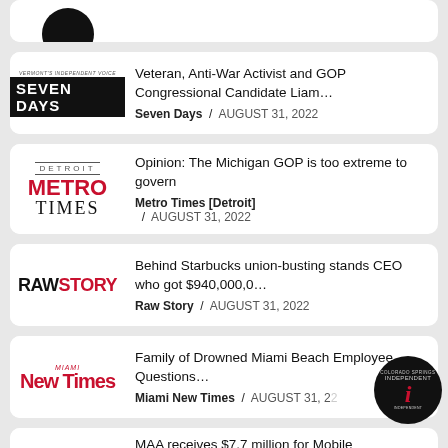[Figure (logo): Partial logo at top (clipped)]
Veteran, Anti-War Activist and GOP Congressional Candidate Liam… | Seven Days / AUGUST 31, 2022
Opinion: The Michigan GOP is too extreme to govern | Metro Times [Detroit] / AUGUST 31, 2022
Behind Starbucks union-busting stands CEO who got $940,000,0… | Raw Story / AUGUST 31, 2022
Family of Drowned Miami Beach Employee Questions… | Miami New Times / AUGUST 31, 2…
MAA receives $7.7 million for Mobile International Airport work
[Figure (logo): Independent publication circular badge logo overlay at bottom right]